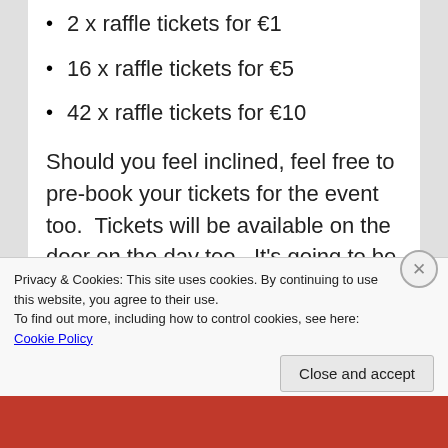2 x raffle tickets for €1
16 x raffle tickets for €5
42 x raffle tickets for €10
Should you feel inclined, feel free to pre-book your tickets for the event too.  Tickets will be available on the door on the day too.  It's going to be a busy con!
Adults €15
Students and unwaged €8
Accompanied Children Free
Privacy & Cookies: This site uses cookies. By continuing to use this website, you agree to their use.
To find out more, including how to control cookies, see here: Cookie Policy
Close and accept